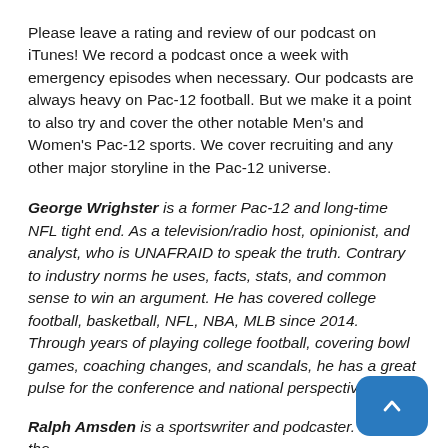Please leave a rating and review of our podcast on iTunes! We record a podcast once a week with emergency episodes when necessary. Our podcasts are always heavy on Pac-12 football. But we make it a point to also try and cover the other notable Men's and Women's Pac-12 sports. We cover recruiting and any other major storyline in the Pac-12 universe.
George Wrighster is a former Pac-12 and long-time NFL tight end. As a television/radio host, opinionist, and analyst, who is UNAFRAID to speak the truth. Contrary to industry norms he uses, facts, stats, and common sense to win an argument. He has covered college football, basketball, NFL, NBA, MLB since 2014. Through years of playing college football, covering bowl games, coaching changes, and scandals, he has a great pulse for the conference and national perspective.
Ralph Amsden is a sportswriter and podcaster. He is the